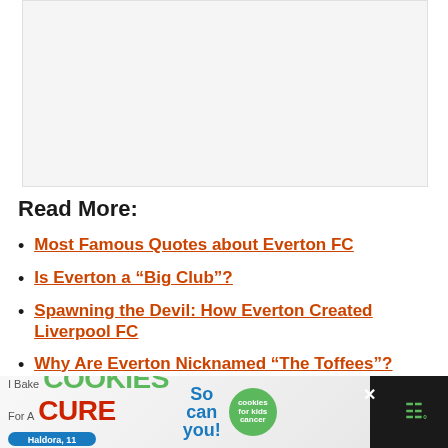[Figure (other): Light gray image placeholder box at top of page]
Read More:
Most Famous Quotes about Everton FC
Is Everton a “Big Club”?
Spawning the Devil: How Everton Created Liverpool FC
Why Are Everton Nicknamed “The Toffees”?
[Figure (other): Advertisement banner: I Bake COOKIES For A CURE - Haldora, 11, Cancer Survivor - So can you! - cookies for kids cancer logo]